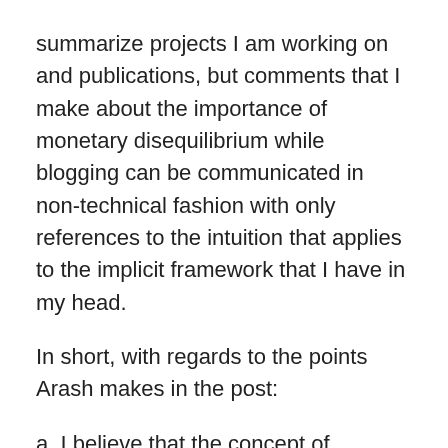summarize projects I am working on and publications, but comments that I make about the importance of monetary disequilibrium while blogging can be communicated in non-technical fashion with only references to the intuition that applies to the implicit framework that I have in my head.
In short, with regards to the points Arash makes in the post:
a. I believe that the concept of monetary disequilibrium is an important one. I similarly believe that it does not require disequilibrium modeling techniques.
b. I do not believe that the New Keynesian model gets to the heart of what Market Monetarists are saying. Nonetheless, I do believe that it can be a useful